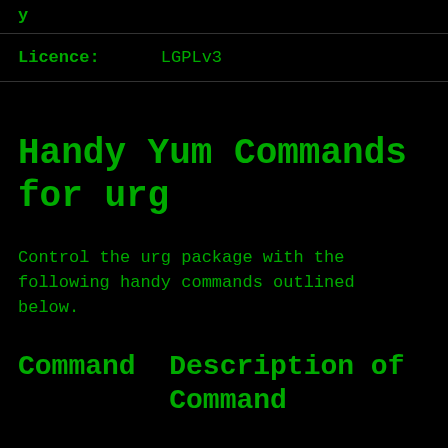y
Licence:      LGPLv3
Handy Yum Commands for urg
Control the urg package with the following handy commands outlined below.
Command  Description of Command